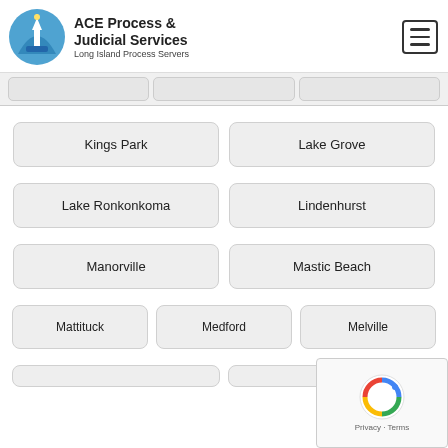ACE Process & Judicial Services — Long Island Process Servers
Kings Park
Lake Grove
Lake Ronkonkoma
Lindenhurst
Manorville
Mastic Beach
Mattituck
Medford
Melville
Middleisland
Miller Place